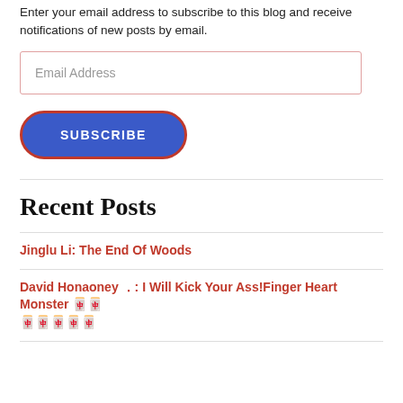Enter your email address to subscribe to this blog and receive notifications of new posts by email.
Email Address
SUBSCRIBE
Recent Posts
Jinglu Li: The End Of Woods
David Honaoney ．: I Will Kick Your Ass!Finger Heart Monster 🀄🀄🀄🀄🀄